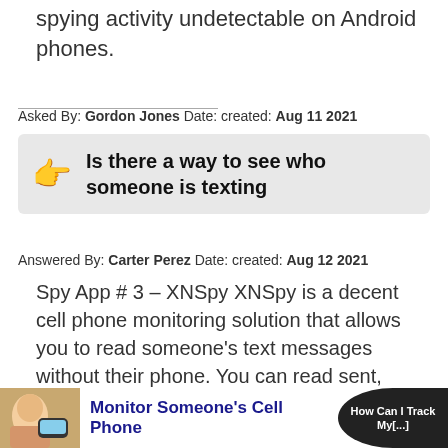spying activity undetectable on Android phones.
Asked By: Gordon Jones Date: created: Aug 11 2021
Is there a way to see who someone is texting
Answered By: Carter Perez Date: created: Aug 12 2021
Spy App # 3 – XNSpy XNSpy is a decent cell phone monitoring solution that allows you to read someone's text messages without their phone. You can read sent, received, and deleted texts on both iOS and Android-based devices.
[Figure (infographic): Bottom banner showing a child being monitored on a phone, with text 'Monitor Someone's Cell Phone' in bold blue, and a dark circular badge on the right with text 'How Can I Track My [...]']